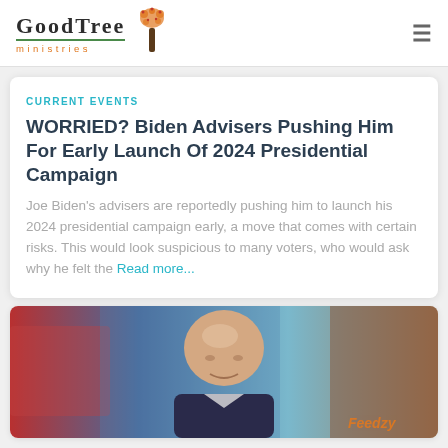GoodTree ministries
CURRENT EVENTS
WORRIED? Biden Advisers Pushing Him For Early Launch Of 2024 Presidential Campaign
Joe Biden's advisers are reportedly pushing him to launch his 2024 presidential campaign early, a move that comes with certain risks. This would look suspicious to many voters, who would ask why he felt the Read more...
[Figure (photo): A bald man in front of a blurred background with red, blue, and brick elements. A 'Feedzy' watermark appears in the bottom right corner.]